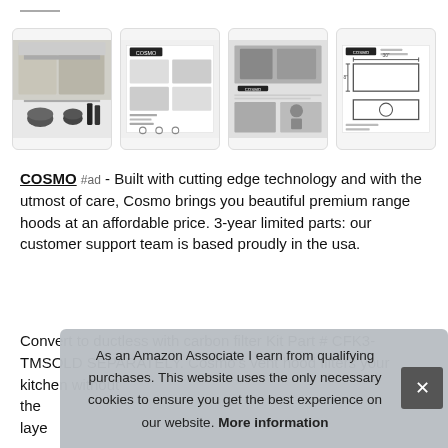[Figure (screenshot): Four product thumbnail images in a row: 1) Kitchen range hood in a modern kitchen with pots, 2) Product spec sheet with Cosmo logo, 3) Product lifestyle photo with person cooking, 4) Engineering/dimension diagram of range hood]
COSMO #ad - Built with cutting edge technology and with the utmost of care, Cosmo brings you beautiful premium range hoods at an affordable price. 3-year limited parts: our customer support team is based proudly in the usa.
Convert to ductless with carbon filter Kit Part # CFK3-TMSOLD SEPARATELY. Cosmo's vent hood filters your kitchen without the laye
As an Amazon Associate I earn from qualifying purchases. This website uses the only necessary cookies to ensure you get the best experience on our website. More information